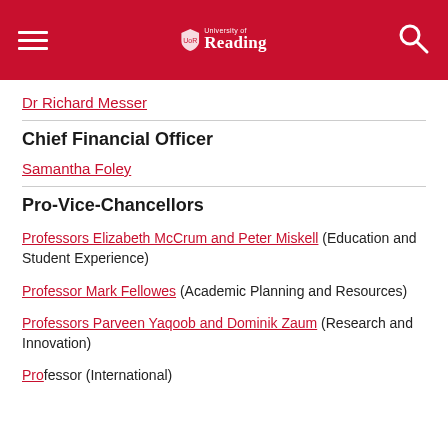University of Reading
Dr Richard Messer
Chief Financial Officer
Samantha Foley
Pro-Vice-Chancellors
Professors Elizabeth McCrum and Peter Miskell (Education and Student Experience)
Professor Mark Fellowes (Academic Planning and Resources)
Professors Parveen Yaqoob and Dominik Zaum (Research and Innovation)
Professor (International)